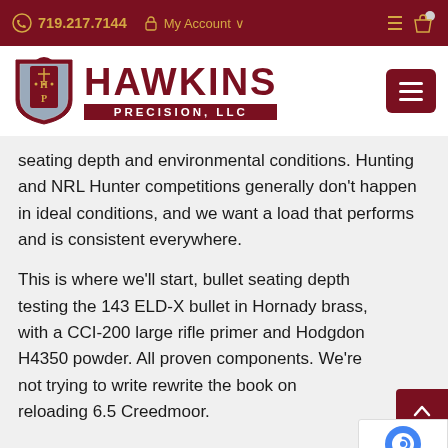719.217.7144  My Account
[Figure (logo): Hawkins Precision, LLC logo with shield emblem and HAWKINS PRECISION, LLC text]
seating depth and environmental conditions. Hunting and NRL Hunter competitions generally don't happen in ideal conditions, and we want a load that performs and is consistent everywhere.
This is where we'll start, bullet seating depth testing the 143 ELD-X bullet in Hornady brass, with a CCI-200 large rifle primer and Hodgdon H4350 powder. All proven components. We're not trying to write rewrite the book on reloading 6.5 Creedmoor.